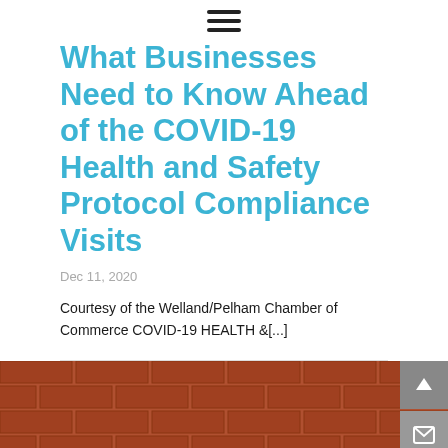☰
What Businesses Need to Know Ahead of the COVID-19 Health and Safety Protocol Compliance Visits
Dec 11, 2020
Courtesy of the Welland/Pelham Chamber of Commerce COVID-19 HEALTH &[...]
[Figure (photo): Photo of people in front of a brick wall background]